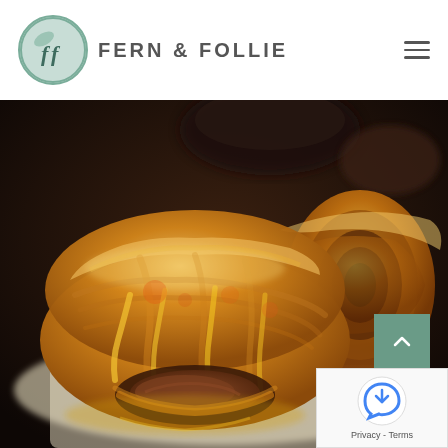FERN & FOLLIE
[Figure (photo): Close-up photograph of golden-brown baked sausage rolls wrapped in flaky puff pastry with melted cheese, displayed on white parchment paper. Two rolls visible, one in foreground showing the meat filling, one in background showing the spiral cross-section.]
Privacy - Terms